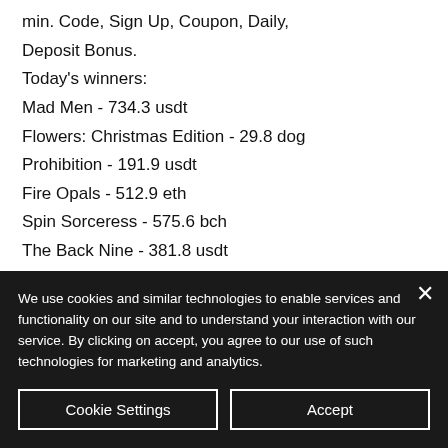min. Code, Sign Up, Coupon, Daily, Deposit Bonus.
Today's winners:
Mad Men - 734.3 usdt
Flowers: Christmas Edition - 29.8 dog
Prohibition - 191.9 usdt
Fire Opals - 512.9 eth
Spin Sorceress - 575.6 bch
The Back Nine - 381.8 usdt
Beautiful Nature - 129.5 dog
Magic Portals - 86.4 dog
Atomic Age - 649.5 bch
Big Bad Wolf - 81 ltc
We use cookies and similar technologies to enable services and functionality on our site and to understand your interaction with our service. By clicking on accept, you agree to our use of such technologies for marketing and analytics.
Cookie Settings
Accept